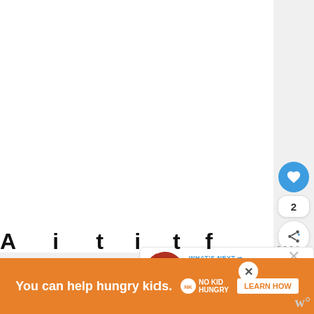[Figure (screenshot): Blank white main content area of a webpage, large empty space]
[Figure (screenshot): Blue circular like/heart button with count of 2 and a share button below it on the right sidebar]
[Figure (screenshot): What's Next panel showing a thumbnail portrait photo and 'Bricks n Blooms...' title with arrow]
What's next → Bricks 'n Blooms...
2
[Figure (screenshot): Orange advertisement banner: 'You can help hungry kids.' with No Kid Hungry logo and LEARN HOW button]